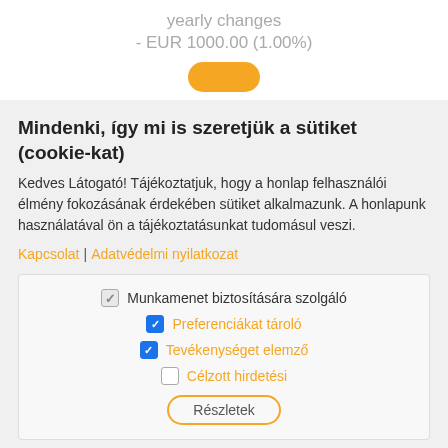yearly changes
- EUR 1000.00 (1.00%)
Mindenki, így mi is szeretjük a sütiket (cookie-kat)
Kedves Látogató! Tájékoztatjuk, hogy a honlap felhasználói élmény fokozásának érdekében sütiket alkalmazunk. A honlapunk használatával ön a tájékoztatásunkat tudomásul veszi.
Kapcsolat | Adatvédelmi nyilatkozat
Munkamenet biztosítására szolgáló
Preferenciákat tároló
Tevékenységet elemző
Célzott hirdetési
Részletek
Elfogadom